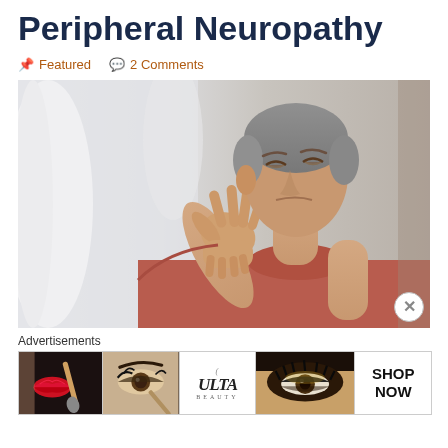Peripheral Neuropathy
📌 Featured   💬 2 Comments
[Figure (photo): Middle-aged man with grey hair wearing a red/salmon t-shirt, grimacing and looking at his hand/wrist in pain, against a light blurred background]
Advertisements
[Figure (photo): Advertisement strip containing beauty product images: red lips with makeup brush, eye makeup, ULTA Beauty logo, eye makeup, and SHOP NOW text]